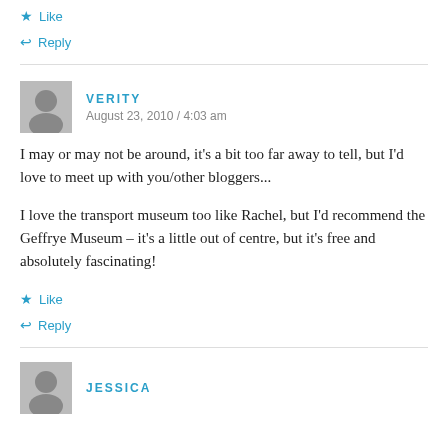Like
Reply
VERITY
August 23, 2010 / 4:03 am
I may or may not be around, it's a bit too far away to tell, but I'd love to meet up with you/other bloggers...
I love the transport museum too like Rachel, but I'd recommend the Geffrye Museum – it's a little out of centre, but it's free and absolutely fascinating!
Like
Reply
JESSICA